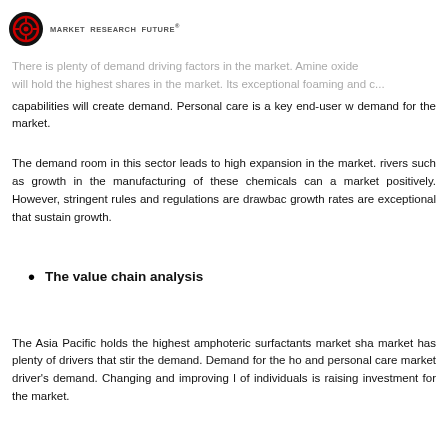Market Research Future
amphoteric surfactants market trends remain steady in the forecast. There is plenty of demand driving factors in the market. Amine oxide will hold the highest shares in the market. Its exceptional foaming and capabilities will create demand. Personal care is a key end-user demand for the market.
The demand room in this sector leads to high expansion in the market. rivers such as growth in the manufacturing of these chemicals can affect market positively. However, stringent rules and regulations are drawbacks. growth rates are exceptional that sustain growth.
The value chain analysis
The Asia Pacific holds the highest amphoteric surfactants market share. market has plenty of drivers that stir the demand. Demand for the home and personal care market driver's demand. Changing and improving lifestyle of individuals is raising investment for the market.